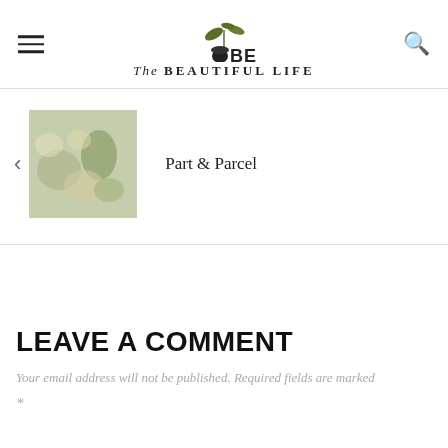The BEAUTIFUL LIFE
[Figure (logo): The Beautiful Life blog logo with acorn and leaf illustration above the text 'The BEAUTIFUL LIFE']
[Figure (photo): Thumbnail image of food/produce items, muted green and neutral tones]
Part & Parcel
LEAVE A COMMENT
Your email address will not be published. Required fields are marked *